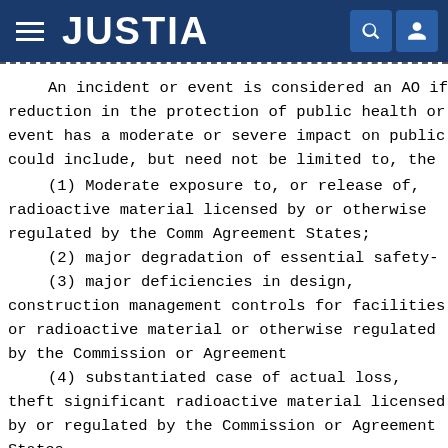JUSTIA
An incident or event is considered an AO if reduction in the protection of public health or event has a moderate or severe impact on public could include, but need not be limited to, the
(1) Moderate exposure to, or release of, radioactive material licensed by or otherwise regulated by the Commission or Agreement States;
(2) major degradation of essential safety-
(3) major deficiencies in design, construction, or management controls for facilities or radioactive material or otherwise regulated by the Commission or Agreement
(4) substantiated case of actual loss, theft, or significant radioactive material licensed by or regulated by the Commission or Agreement States.
The criteria for determining whether to consider